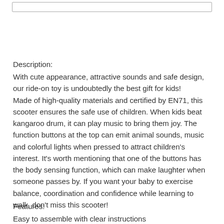Description:
With cute appearance, attractive sounds and safe design, our ride-on toy is undoubtedly the best gift for kids! Made of high-quality materials and certified by EN71, this scooter ensures the safe use of children. When kids beat kangaroo drum, it can play music to bring them joy. The function buttons at the top can emit animal sounds, music and colorful lights when pressed to attract children's interest. It's worth mentioning that one of the buttons has the body sensing function, which can make laughter when someone passes by. If you want your baby to exercise balance, coordination and confidence while learning to walk, don't miss this scooter!
Features:
Easy to assemble with clear instructions